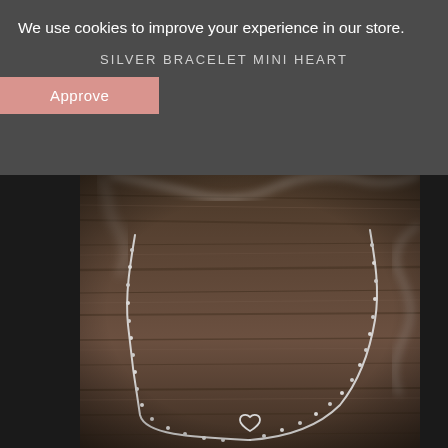We use cookies to improve your experience in our store.
SILVER BRACELET MINI HEART
Approve
[Figure (photo): A silver chain bracelet with a small open heart charm, laid out on a rustic wooden surface. The chain is displayed in a loose arrangement, with the mini heart charm visible at the bottom center. The wooden background has a dark brown, weathered texture.]